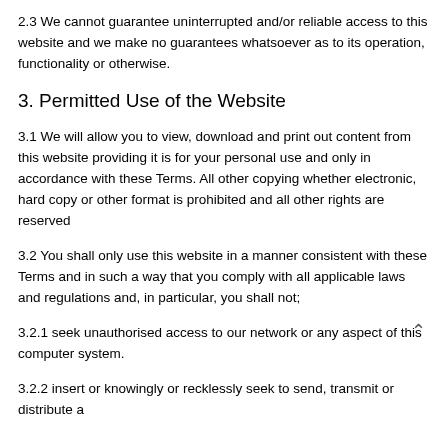2.3 We cannot guarantee uninterrupted and/or reliable access to this website and we make no guarantees whatsoever as to its operation, functionality or otherwise.
3. Permitted Use of the Website
3.1 We will allow you to view, download and print out content from this website providing it is for your personal use and only in accordance with these Terms. All other copying whether electronic, hard copy or other format is prohibited and all other rights are reserved
3.2 You shall only use this website in a manner consistent with these Terms and in such a way that you comply with all applicable laws and regulations and, in particular, you shall not;
3.2.1 seek unauthorised access to our network or any aspect of this computer system.
3.2.2 insert or knowingly or recklessly seek to send, transmit or distribute a